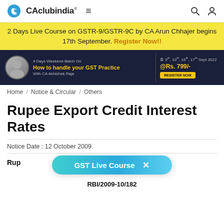CAclubindia®
2 Days Live Course on GSTR-9/GSTR-9C by CA Arun Chhajer begins 17th September. Register Now!!
[Figure (infographic): Dark blue banner ad for '4 Days Weekend Batch On How to handle your GST Practice With CA Abhishek Raja', dates 9th, 10th, 16th, 17th Sept 2022 @Rs.799/-, with avatar photo and Register Now button]
Home / Notice & Circular / Others
Rupee Export Credit Interest Rates
Notice Date : 12 October 2009
Rupee Export Credit Interest Rates
RBI/2009-10/182